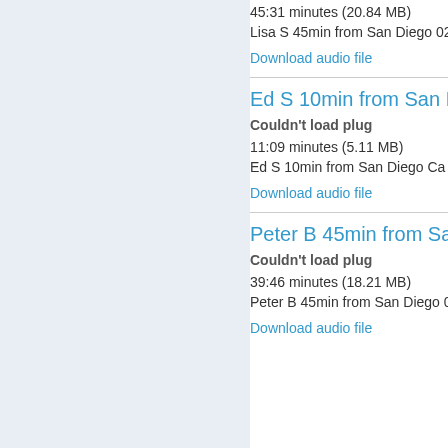45:31 minutes (20.84 MB)
Lisa S 45min from San Diego 021018
Download audio file
Ed S 10min from San D
Couldn't load plug
11:09 minutes (5.11 MB)
Ed S 10min from San Diego Ca 021718
Download audio file
Peter B 45min from Sa
Couldn't load plug
39:46 minutes (18.21 MB)
Peter B 45min from San Diego 021718
Download audio file